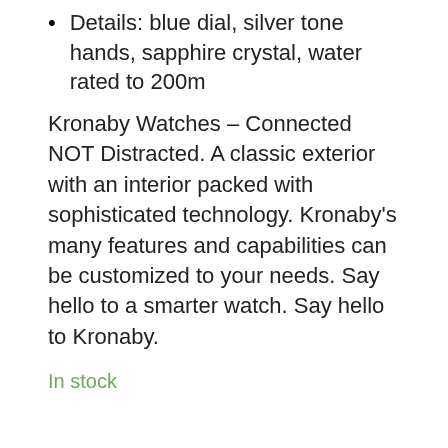Details: blue dial, silver tone hands, sapphire crystal, water rated to 200m
Kronaby Watches – Connected NOT Distracted. A classic exterior with an interior packed with sophisticated technology. Kronaby's many features and capabilities can be customized to your needs. Say hello to a smarter watch. Say hello to Kronaby.
In stock
ADD TO CART
SKU: S3778-1  Category: Kronaby